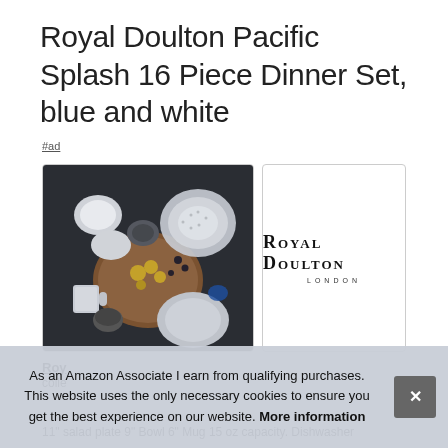Royal Doulton Pacific Splash 16 Piece Dinner Set, blue and white
#ad
[Figure (photo): Overhead photo of Royal Doulton Pacific dinnerware set styled with food and boards on a dark table]
[Figure (logo): Royal Doulton London brand logo in serif small-caps typeface]
Roy
colle
11" salad plate 9" Bowl 6" Mug 15 oz capacity. Dishwasher
As an Amazon Associate I earn from qualifying purchases. This website uses the only necessary cookies to ensure you get the best experience on our website. More information